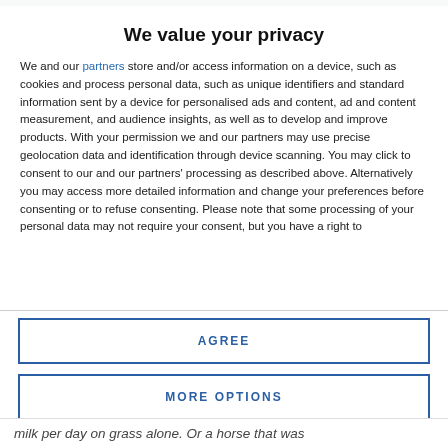We value your privacy
We and our partners store and/or access information on a device, such as cookies and process personal data, such as unique identifiers and standard information sent by a device for personalised ads and content, ad and content measurement, and audience insights, as well as to develop and improve products. With your permission we and our partners may use precise geolocation data and identification through device scanning. You may click to consent to our and our partners' processing as described above. Alternatively you may access more detailed information and change your preferences before consenting or to refuse consenting. Please note that some processing of your personal data may not require your consent, but you have a right to
AGREE
MORE OPTIONS
milk per day on grass alone. Or a horse that was